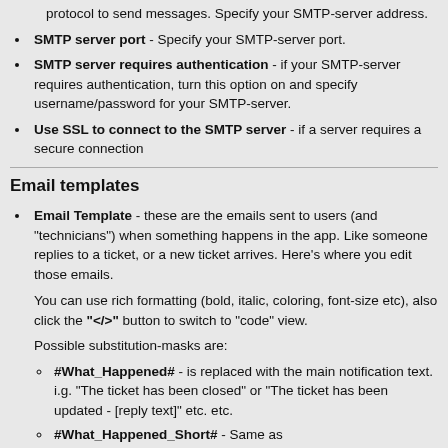protocol to send messages. Specify your SMTP-server address.
SMTP server port - Specify your SMTP-server port.
SMTP server requires authentication - if your SMTP-server requires authentication, turn this option on and specify username/password for your SMTP-server.
Use SSL to connect to the SMTP server - if a server requires a secure connection
Email templates
Email Template - these are the emails sent to users (and "technicians") when something happens in the app. Like someone replies to a ticket, or a new ticket arrives. Here's where you edit those emails.
You can use rich formatting (bold, italic, coloring, font-size etc), also click the "</>" button to switch to "code" view.
Possible substitution-masks are:
#What_Happened# - is replaced with the main notification text. i.g. "The ticket has been closed" or "The ticket has been updated - [reply text]" etc. etc.
#What_Happened_Short# - Same as